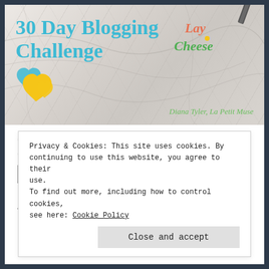[Figure (illustration): Banner image with marble background showing '30 Day Blogging Challenge' in teal text with decorative hearts (yellow/teal outlined), a 'Lay Cheese' handwritten logo in orange/green, and author credit 'Diana Tyler, La Petit Muse' in green italic text]
I talk about this book
so much that I am
Privacy & Cookies: This site uses cookies. By continuing to use this website, you agree to their use.
To find out more, including how to control cookies, see here: Cookie Policy
Close and accept